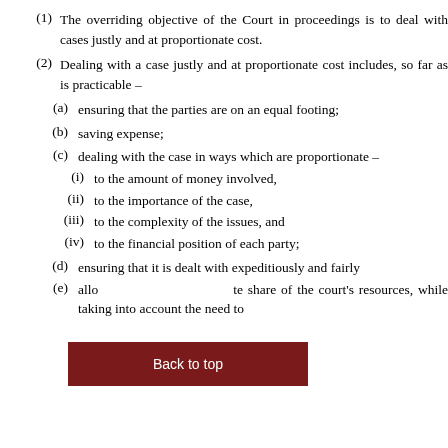(1) The overriding objective of the Court in proceedings is to deal with cases justly and at proportionate cost.
(2) Dealing with a case justly and at proportionate cost includes, so far as is practicable –
(a) ensuring that the parties are on an equal footing;
(b) saving expense;
(c) dealing with the case in ways which are proportionate –
(i) to the amount of money involved,
(ii) to the importance of the case,
(iii) to the complexity of the issues, and
(iv) to the financial position of each party;
(d) ensuring that it is dealt with expeditiously and fairly
(e) allotting to it an appropriate share of the court's resources, while taking into account the need to